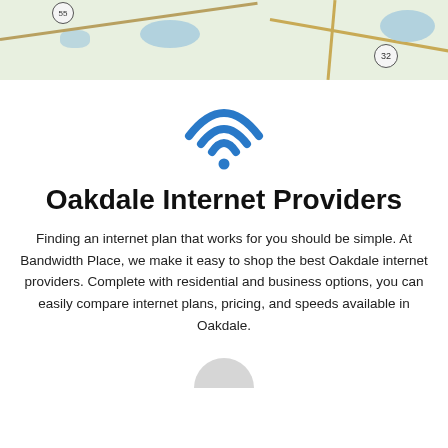[Figure (map): Background map showing Oakdale area with roads, water bodies, and route markers (32 and another route badge)]
[Figure (illustration): Blue WiFi signal icon with three arcs and a dot at the bottom center]
Oakdale Internet Providers
Finding an internet plan that works for you should be simple. At Bandwidth Place, we make it easy to shop the best Oakdale internet providers. Complete with residential and business options, you can easily compare internet plans, pricing, and speeds available in Oakdale.
[Figure (illustration): Partial circular grey icon visible at the bottom of the page]